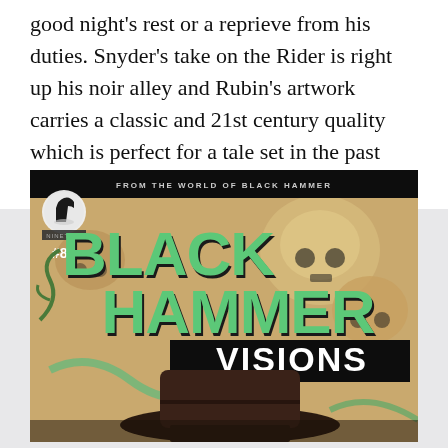good night's rest or a reprieve from his duties. Snyder's take on the Rider is right up his noir alley and Rubin's artwork carries a classic and 21st century quality which is perfect for a tale set in the past (two different pasts actually).
[Figure (illustration): Comic book cover for 'Black Hammer Visions #8' from the world of Black Hammer. Green bold lettering for 'Black Hammer' and white lettering for 'Visions' on a black banner. Background features illustrated skulls in muted yellows and greens. A figure wearing a dark wide-brimmed hat is visible in the lower portion. Dark Horse logo and '#8' visible in the upper left.]